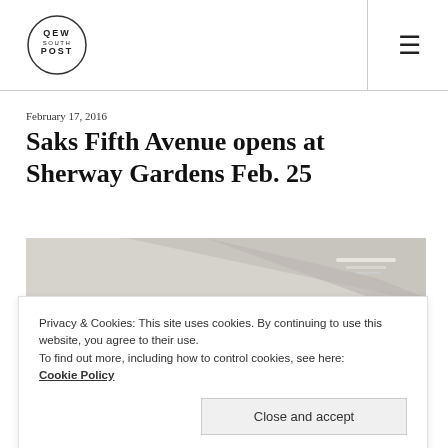[Figure (logo): QEW South Post circular logo]
February 17, 2016
Saks Fifth Avenue opens at Sherway Gardens Feb. 25
[Figure (photo): Interior photo of Saks Fifth Avenue store at Sherway Gardens]
Privacy & Cookies: This site uses cookies. By continuing to use this website, you agree to their use.
To find out more, including how to control cookies, see here:
Cookie Policy
Close and accept